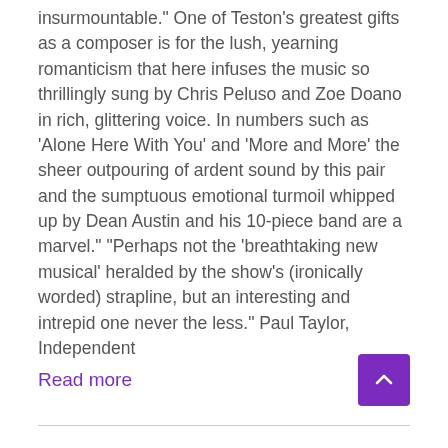insurmountable." One of Teston's greatest gifts as a composer is for the lush, yearning romanticism that here infuses the music so thrillingly sung by Chris Peluso and Zoe Doano in rich, glittering voice. In numbers such as 'Alone Here With You' and 'More and More' the sheer outpouring of ardent sound by this pair and the sumptuous emotional turmoil whipped up by Dean Austin and his 10-piece band are a marvel." "Perhaps not the 'breathtaking new musical' heralded by the show's (ironically worded) strapline, but an interesting and intrepid one never the less." Paul Taylor, Independent
Read more